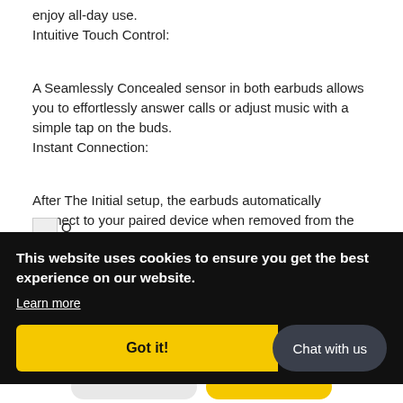enjoy all-day use.
Intuitive Touch Control:
A Seamlessly Concealed sensor in both earbuds allows you to effortlessly answer calls or adjust music with a simple tap on the buds.
Instant Connection:
After The Initial setup, the earbuds automatically connect to your paired device when removed from the case and disconnect when returned.
This website uses cookies to ensure you get the best experience on our website.
Learn more
Got it!
Chat with us